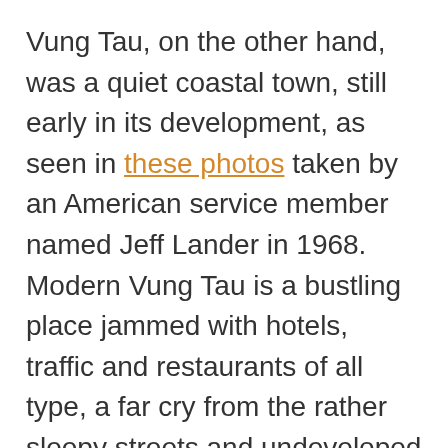Vung Tau, on the other hand, was a quiet coastal town, still early in its development, as seen in these photos taken by an American service member named Jeff Lander in 1968. Modern Vung Tau is a bustling place jammed with hotels, traffic and restaurants of all type, a far cry from the rather sleepy streets and undeveloped areas along the water of years past.
Visit Saigon's favorite beach getaway through a time machine below: